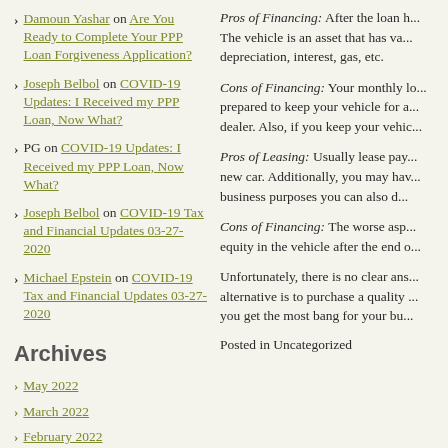Damoun Yashar on Are You Ready to Complete Your PPP Loan Forgiveness Application?
Joseph Belbol on COVID-19 Updates: I Received my PPP Loan, Now What?
PG on COVID-19 Updates: I Received my PPP Loan, Now What?
Joseph Belbol on COVID-19 Tax and Financial Updates 03-27-2020
Michael Epstein on COVID-19 Tax and Financial Updates 03-27-2020
Archives
May 2022
March 2022
February 2022
March 2021
February 2021
Pros of Financing: After the loan h... The vehicle is an asset that has va... depreciation, interest, gas, etc.
Cons of Financing: Your monthly lo... prepared to keep your vehicle for a... dealer. Also, if you keep your vehic...
Pros of Leasing: Usually lease pay... new car. Additionally, you may hav... business purposes you can also d...
Cons of Financing: The worse asp... equity in the vehicle after the end o...
Unfortunately, there is no clear ans... alternative is to purchase a quality ... you get the most bang for your bu...
Posted in Uncategorized